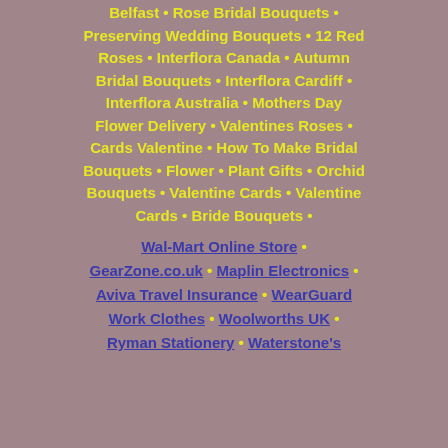Belfast • Rose Bridal Bouquets • Preserving Wedding Bouquets • 12 Red Roses • Interflora Canada • Autumn Bridal Bouquets • Interflora Cardiff • Interflora Australia • Mothers Day Flower Delivery • Valentines Roses • Cards Valentine • How To Make Bridal Bouquets • Flower • Plant Gifts • Orchid Bouquets • Valentine Cards • Valentine Cards • Bride Bouquets •
Wal-Mart Online Store • GearZone.co.uk • Maplin Electronics • Aviva Travel Insurance • WearGuard Work Clothes • Woolworths UK • Ryman Stationery • Waterstone's